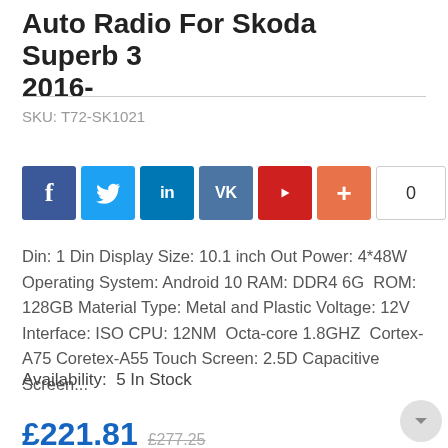Auto Radio For Skoda Superb 3 2016-
SKU: T72-SK1021
[Figure (other): Social share buttons: Facebook, Twitter, LinkedIn, VK, YouTube, Plus, and a count box showing 0]
Din: 1 Din Display Size: 10.1 inch Out Power: 4*48W Operating System: Android 10 RAM: DDR4 6G ROM: 128GB Material Type: Metal and Plastic Voltage: 12V Interface: ISO CPU: 12NM Octa-core 1.8GHZ Cortex-A75 Coretex-A55 Touch Screen: 2.5D Capacitive Screen...
Availability:  5 In Stock
£221.81